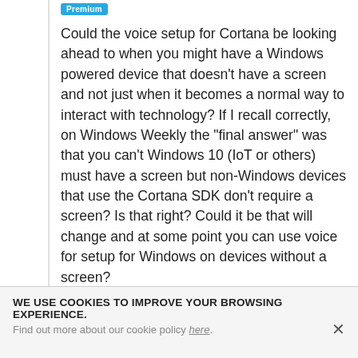Premium
Could the voice setup for Cortana be looking ahead to when you might have a Windows powered device that doesn't have a screen and not just when it becomes a normal way to interact with technology? If I recall correctly, on Windows Weekly the "final answer" was that you can't Windows 10 (IoT or others) must have a screen but non-Windows devices that use the Cortana SDK don't require a screen? Is that right? Could it be that will change and at some point you can use voice for setup for Windows on devices without a screen?
5 years ago  ♥ 0
WE USE COOKIES TO IMPROVE YOUR BROWSING EXPERIENCE.
Find out more about our cookie policy here.